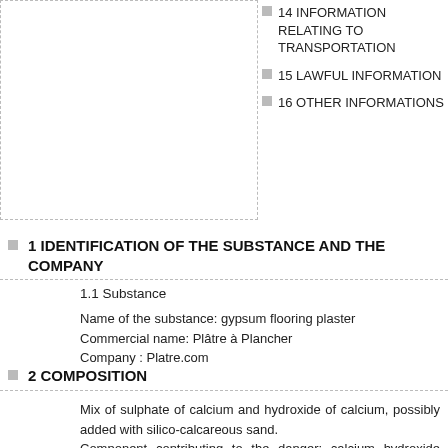14 INFORMATION RELATING TO TRANSPORTATION
15 LAWFUL INFORMATION
16 OTHER INFORMATIONS
1 IDENTIFICATION OF THE SUBSTANCE AND THE COMPANY
1.1 Substance
Name of the substance: gypsum flooring plaster
Commercial name: Plâtre à Plancher
Company : Platre.com
2 COMPOSITION
Mix of sulphate of calcium and hydroxide of calcium, possibly added with silico-calcareous sand.
Component contributing to the danger: calcium hydroxide 1305-62-0 Xi.R 41: inferior to 5 %